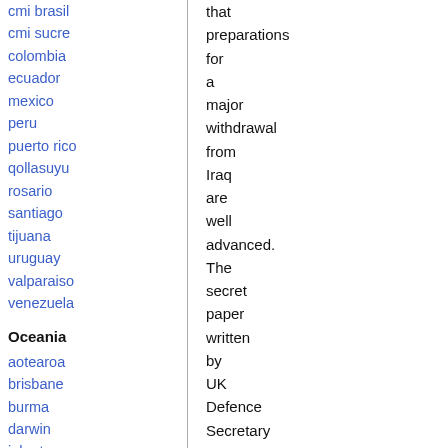cmi brasil
cmi sucre
colombia
ecuador
mexico
peru
puerto rico
qollasuyu
rosario
santiago
tijuana
uruguay
valparaiso
venezuela
Oceania
aotearoa
brisbane
burma
darwin
jakarta
manila
melbourne
perth
qc
sydney
that preparations for a major withdrawal from Iraq are well advanced. The secret paper written by UK Defence Secretary John Reid for Tony Blair reveals that many